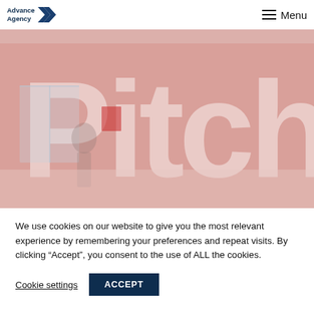Advance Agency [logo] Menu
[Figure (photo): A blurred orange/red background with large white letters spelling 'Pitch' partially visible, with a person standing in the background near windows.]
We use cookies on our website to give you the most relevant experience by remembering your preferences and repeat visits. By clicking “Accept”, you consent to the use of ALL the cookies.
Cookie settings   ACCEPT